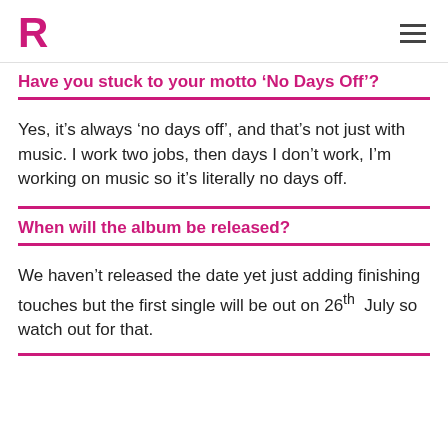R
Have you stuck to your motto ‘No Days Off’?
Yes, it’s always ‘no days off’, and that’s not just with music. I work two jobs, then days I don’t work, I’m working on music so it’s literally no days off.
When will the album be released?
We haven’t released the date yet just adding finishing touches but the first single will be out on 26th July so watch out for that.